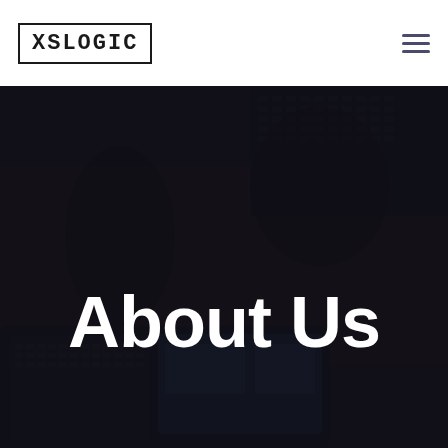XSLOGIC
[Figure (photo): Overhead view of people working around a dark table with laptops, tablets, and keyboards, with a dark overlay. Large white 'About Us' text overlaid in the lower center of the image.]
About Us